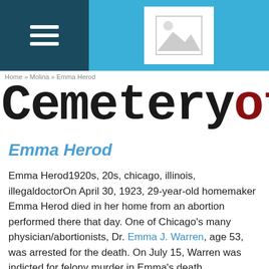[Figure (screenshot): Website navigation bar with dark teal hamburger menu on left and image placeholder icon on light blue background]
CemeteryofCh
Emma Herod
Emma Herod1920s, 20s, chicago, illinois, illegaldoctorOn April 30, 1923, 29-year-old homemaker Emma Herod died in her home from an abortion performed there that day. One of Chicago's many physician/abortionists, Dr. Emma J. Warren, age 53, was arrested for the death. On July 15, Warren was indicted for felony murder in Emma's death.
Warren had already been implicated in the 1917